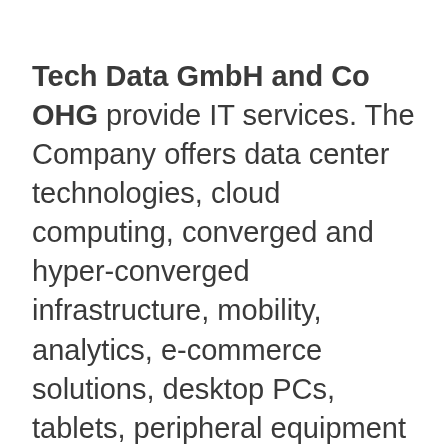Tech Data GmbH and Co OHG provide IT services. The Company offers data center technologies, cloud computing, converged and hyper-converged infrastructure, mobility, analytics, e-commerce solutions, desktop PCs, tablets, peripheral equipment